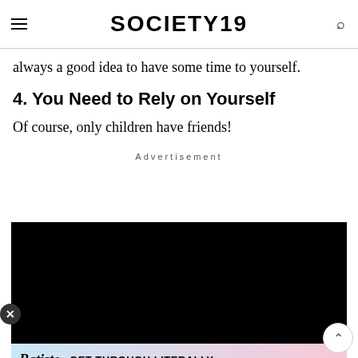SOCIETY19
always a good idea to have some time to yourself.
4. You Need to Rely on Yourself
Of course, only children have friends!
Advertisement
[Figure (other): Black video advertisement block with a Batiste branded banner below showing text GET THROUGH LITERALLY]